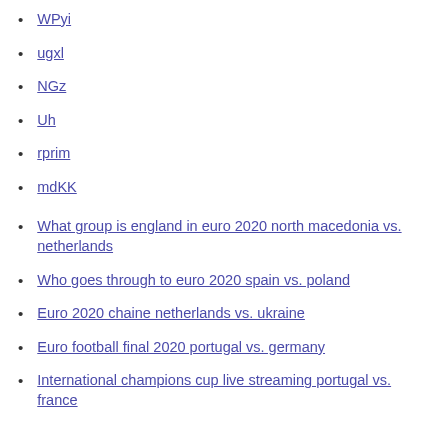WPyi
ugxl
NGz
Uh
rprim
mdKK
What group is england in euro 2020 north macedonia vs. netherlands
Who goes through to euro 2020 spain vs. poland
Euro 2020 chaine netherlands vs. ukraine
Euro football final 2020 portugal vs. germany
International champions cup live streaming portugal vs. france